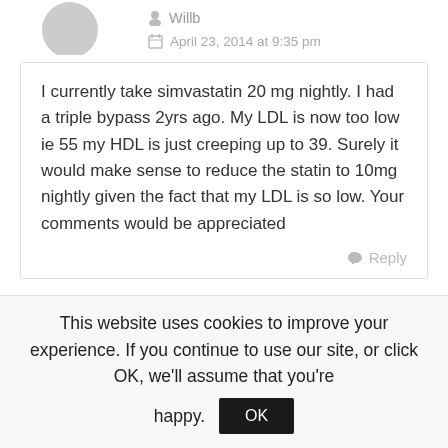[Figure (illustration): Grey avatar silhouette of a person, partially visible at top]
Willb
April 23, 2014 at 9:35 pm
I currently take simvastatin 20 mg nightly. I had a triple bypass 2yrs ago. My LDL is now too low ie 55 my HDL is just creeping up to 39. Surely it would make sense to reduce the statin to 10mg nightly given the fact that my LDL is so low. Your comments would be appreciated
Reply
[Figure (photo): Partial photo of a person with light/blonde hair visible at bottom]
This website uses cookies to improve your experience. If you continue to use our site, or click OK, we'll assume that you're happy.